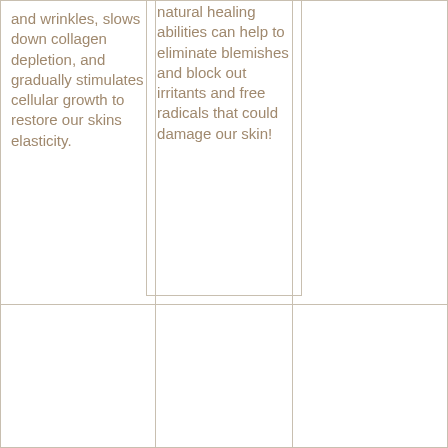and wrinkles, slows down collagen depletion, and gradually stimulates cellular growth to restore our skins elasticity.
natural healing abilities can help to eliminate blemishes and block out irritants and free radicals that could damage our skin!